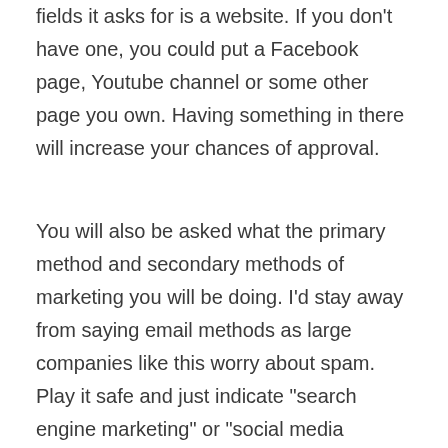fields it asks for is a website. If you don't have one, you could put a Facebook page, Youtube channel or some other page you own. Having something in there will increase your chances of approval.
You will also be asked what the primary method and secondary methods of marketing you will be doing. I'd stay away from saying email methods as large companies like this worry about spam. Play it safe and just indicate "search engine marketing" or "social media influencer."